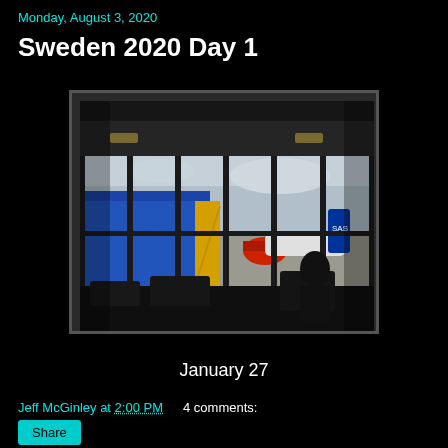Monday, August 3, 2020
Sweden 2020 Day 1
[Figure (photo): Airport terminal interior photo showing large floor-to-ceiling windows looking out onto the tarmac. Blue ground equipment and jet bridges visible outside. An airplane with red engine cowling and SAS livery on the tail is visible through the windows. Dark silhouetted airport seating in the foreground.]
January 27
Jeff McGinley at 2:00 PM    4 comments:
Share